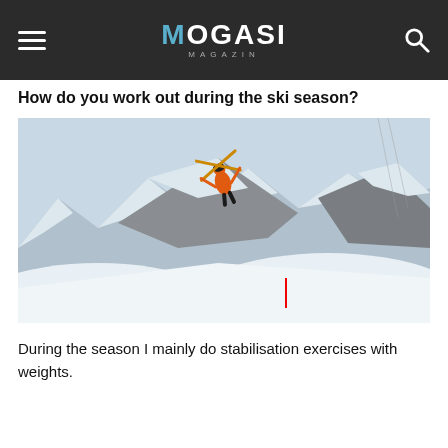MOGASI MAGAZIN
How do you work out during the ski season?
[Figure (photo): A skier performing a jump trick in the air above snowy mountain peaks, wearing an orange jacket, with skis crossed overhead against an overcast sky.]
During the season I mainly do stabilisation exercises with weights.